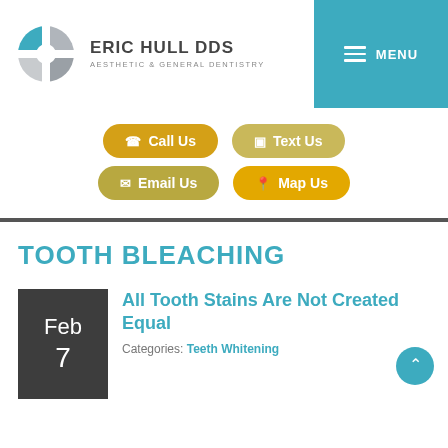[Figure (logo): Eric Hull DDS Aesthetic & General Dentistry logo with tooth icon in teal and gray]
[Figure (infographic): Navigation buttons: Call Us, Text Us, Email Us, Map Us in gold/yellow rounded pill shapes]
TOOTH BLEACHING
[Figure (infographic): Date box showing Feb 7 in dark gray background]
All Tooth Stains Are Not Created Equal
Categories: Teeth Whitening